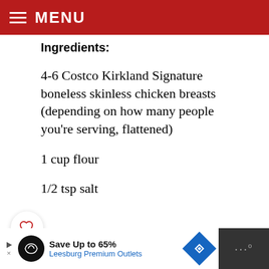MENU
Ingredients:
4-6 Costco Kirkland Signature boneless skinless chicken breasts (depending on how many people you're serving, flattened)
1 cup flour
1/2 tsp salt
1/4 tsp black pepper
[Figure (screenshot): Social media UI buttons: heart/like button (white circle) and share button (red circle with share icon) with count badge of 2]
[Figure (screenshot): Advertisement bar: Save Up to 65% Leesburg Premium Outlets with logo, play button, blue diamond navigation icon, and Waze dots icon]